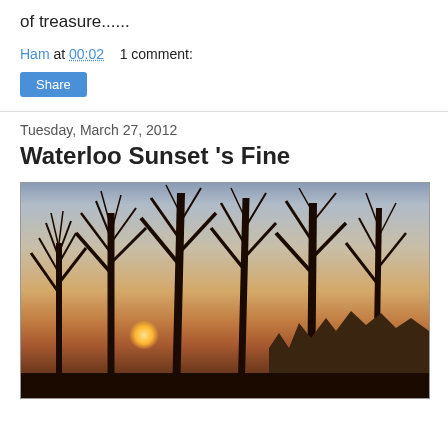of treasure......
Ham at 00:02    1 comment:
Share
Tuesday, March 27, 2012
Waterloo Sunset 's Fine
[Figure (photo): Photograph of bare winter trees silhouetted against a warm sunset sky, with buildings visible in the background along a waterfront, likely the Thames at Waterloo, London.]